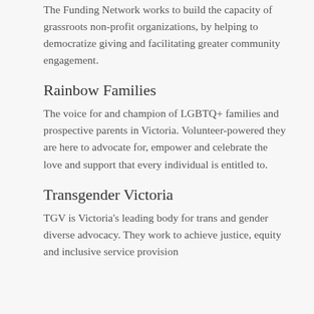The Funding Network works to build the capacity of grassroots non-profit organizations, by helping to democratize giving and facilitating greater community engagement.
Rainbow Families
The voice for and champion of LGBTQ+ families and prospective parents in Victoria. Volunteer-powered they are here to advocate for, empower and celebrate the love and support that every individual is entitled to.
Transgender Victoria
TGV is Victoria's leading body for trans and gender diverse advocacy. They work to achieve justice, equity and inclusive service provision